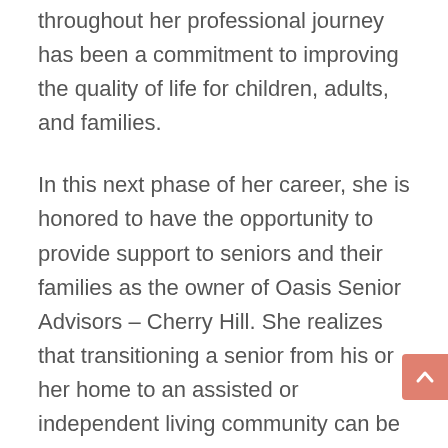throughout her professional journey has been a commitment to improving the quality of life for children, adults, and families.
In this next phase of her career, she is honored to have the opportunity to provide support to seniors and their families as the owner of Oasis Senior Advisors – Cherry Hill. She realizes that transitioning a senior from his or her home to an assisted or independent living community can be an overwhelming and stressful experience for families, so it is her honor to offer families expert and compassionate assistance as they navigate this process.
Rashonda received her undergraduate degree in public relations from Simmons University in Boston